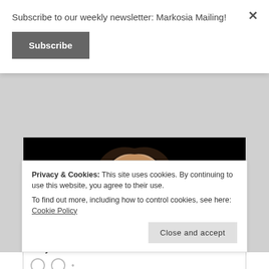Subscribe to our weekly newsletter: Markosia Mailing!
Subscribe
[Figure (illustration): Comic book illustration of a woman with dark hair and teal eyes, wearing a light-colored jacket, on a black background.]
markosia.com
Gray Cells #6 on DriveThruComics!
Privacy & Cookies: This site uses cookies. By continuing to use this website, you agree to their use.
To find out more, including how to control cookies, see here: Cookie Policy
Close and accept
DriveThruComics!